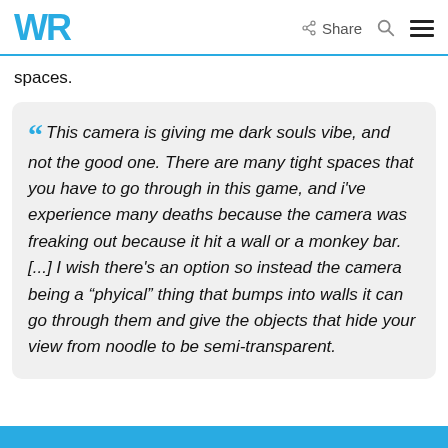WR  Share
spaces.
This camera is giving me dark souls vibe, and not the good one. There are many tight spaces that you have to go through in this game, and i've experience many deaths because the camera was freaking out because it hit a wall or a monkey bar. [...] I wish there's an option so instead the camera being a “phyical” thing that bumps into walls it can go through them and give the objects that hide your view from noodle to be semi-transparent.